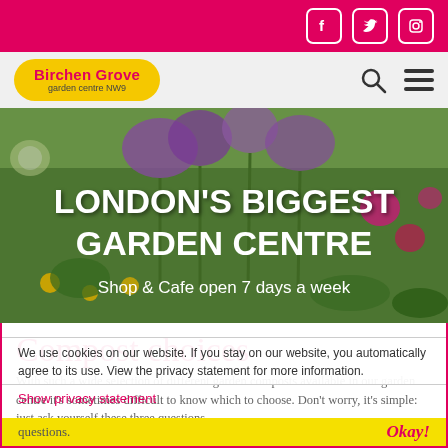Social media icons: Facebook, Twitter, Instagram
[Figure (logo): Birchen Grove garden centre NW9 logo in yellow oval with pink text, alongside search and menu icons]
[Figure (photo): Garden centre hero image with purple alliums and wildflowers. Text overlay: LONDON'S BIGGEST GARDEN CENTRE — Shop & Cafe open 7 days a week]
Compost choices
With such a wide selection of different garden composts available in our garden centre it's sometimes difficult to know which to choose. Don't worry, it's simple: just ask yourself these three questions.
We use cookies on our website. If you stay on our website, you automatically agree to its use. View the privacy statement for more information.
Show privacy statement
questions.
Okay!